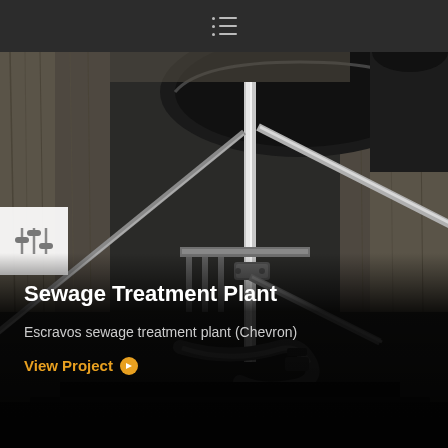≡ (navigation menu icon)
[Figure (photo): Close-up photograph of industrial sewage treatment plant equipment: metal pipes, forks/agitator components, steel rods, and mechanical fittings inside a concrete tank structure, viewed from above at an angle. Dark metallic tones with grey concrete walls.]
Sewage Treatment Plant
Escravos sewage treatment plant (Chevron)
View Project ❯